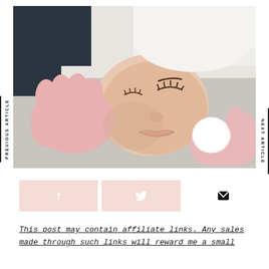[Figure (photo): A woman lying down receiving a facial treatment. A gloved hand holds a cotton pad to her cheek while another gloved hand rests on her forehead. She wears a white towel on her head and has her eyes closed.]
PREVIOUS ARTICLE
NEXT ARTICLE
[Figure (infographic): Three social share buttons side by side: Facebook (f icon), Twitter (bird icon), and Email (envelope icon), all on a light pink background.]
This post may contain affiliate links. Any sales made through such links will reward me a small